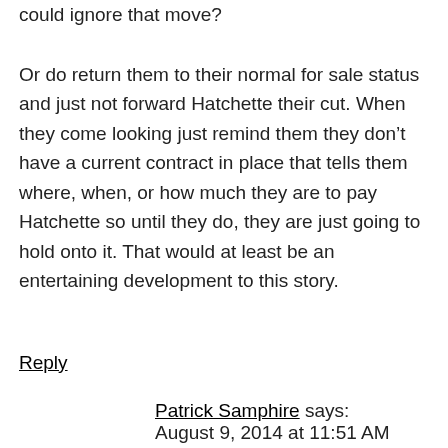could ignore that move?
Or do return them to their normal for sale status and just not forward Hatchette their cut. When they come looking just remind them they don’t have a current contract in place that tells them where, when, or how much they are to pay Hatchette so until they do, they are just going to hold onto it. That would at least be an entertaining development to this story.
Reply
Patrick Samphire says:
August 9, 2014 at 11:51 AM